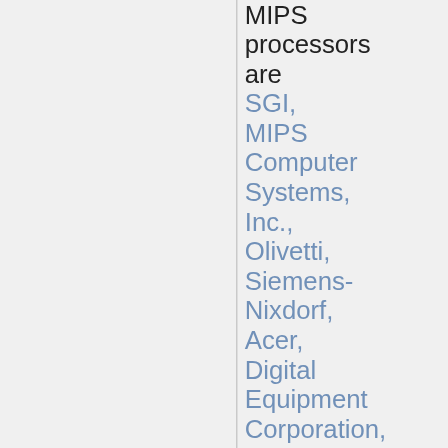MIPS processors are SGI, MIPS Computer Systems, Inc., Olivetti, Siemens-Nixdorf, Acer, Digital Equipment Corporation, NEC,